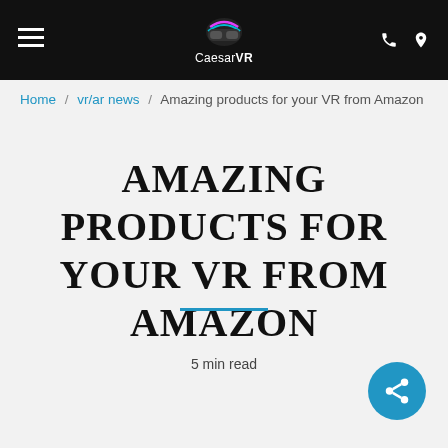CaesarVR — navigation bar with hamburger menu, logo, phone and location icons
Home / vr/ar news / Amazing products for your VR from Amazon
AMAZING PRODUCTS FOR YOUR VR FROM AMAZON
5 min read